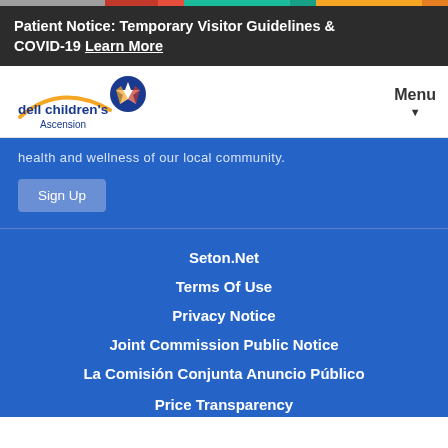Patient Notice: Temporary Visitor Guidelines & COVID-19 Learn More
[Figure (logo): Dell Children's Ascension logo with star icon and orange swoosh]
health and wellness of our local community.
Sign Up
Seton.Net
Terms Of Use
Privacy Notice
Joint Commission Public Notice
La Comisión Conjunta Anuncio Público
Price Transparency